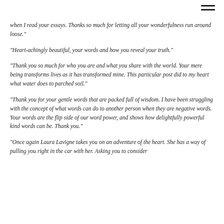when I read your essays. Thanks so much for letting all your wonderfulness run around loose."
"Heart-achingly beautiful, your words and how you reveal your truth."
"Thank you so much for who you are and what you share with the world. Your mere being transforms lives as it has transformed mine. This particular post did to my heart what water does to parched soil."
"Thank you for your gentle words that are packed full of wisdom. I have been struggling with the concept of what words can do to another person when they are negative words. Your words are the flip side of our word power, and shows how delightfully powerful kind words can be. Thank you."
"Once again Laura Lavigne takes you on an adventure of the heart. She has a way of pulling you right in the car with her. Asking you to consider